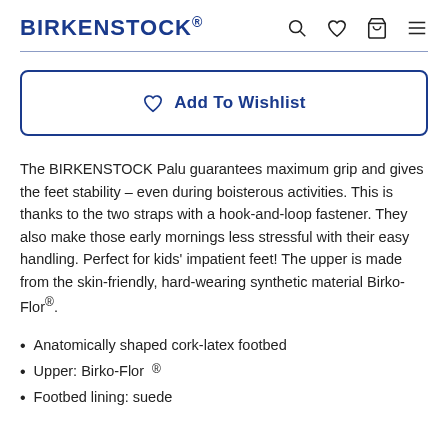BIRKENSTOCK
[Figure (other): Add To Wishlist button with heart icon, outlined in blue]
The BIRKENSTOCK Palu guarantees maximum grip and gives the feet stability – even during boisterous activities. This is thanks to the two straps with a hook-and-loop fastener. They also make those early mornings less stressful with their easy handling. Perfect for kids' impatient feet! The upper is made from the skin-friendly, hard-wearing synthetic material Birko-Flor®.
Anatomically shaped cork-latex footbed
Upper: Birko-Flor®
Footbed lining: suede